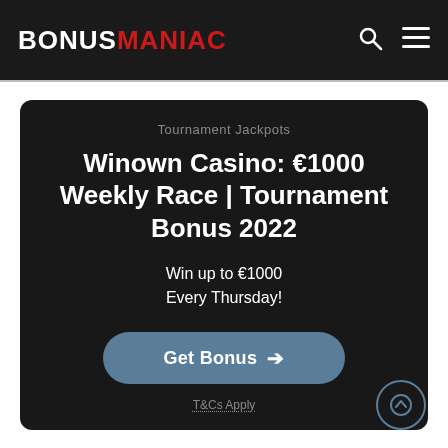BonusManiac
Tournament Jackpots
Winown Casino: €1000 Weekly Race | Tournament Bonus 2022
Win up to €1000
Every Thursday!
Get Bonus →
T&Cs Apply